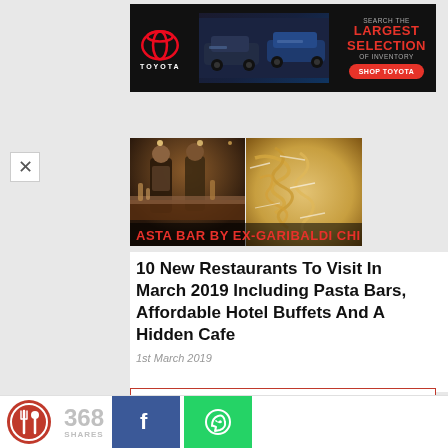[Figure (photo): Toyota advertisement banner with Toyota logo on left, car images in center, and red text 'SEARCH THE LARGEST SELECTION OF INVENTORY' with 'SHOP TOYOTA' red button on right]
[Figure (photo): Two-panel food/restaurant photo: left panel shows chefs working at a bar/kitchen, right panel shows pasta dish close-up. Red text overlay reads 'ASTA BAR BY EX-GARIBALDI CHI']
10 New Restaurants To Visit In March 2019 Including Pasta Bars, Affordable Hotel Buffets And A Hidden Cafe
1st March 2019
[Figure (other): Partial bottom red-bordered content box]
[Figure (logo): Eatbook circular logo (red circle with fork and spoon icon)]
368 SHARES
[Figure (other): Facebook share button (blue with white f icon)]
[Figure (other): WhatsApp share button (green with white phone icon)]